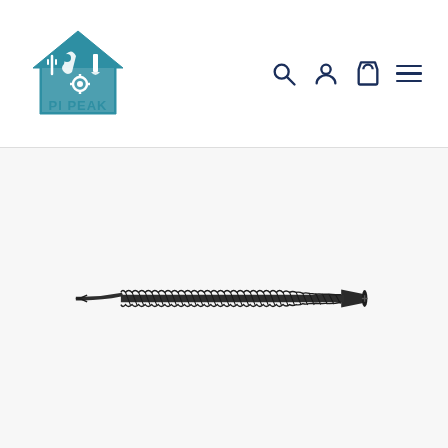[Figure (logo): PI PEAK logo with house icon containing tools (wrench, plug, gear, paintbrush) in teal/blue color with PI PEAK text below]
[Figure (other): Navigation icons: search magnifying glass, user/account person icon, shopping bag/cart icon, hamburger menu icon — all in dark navy blue]
[Figure (photo): A dark/black drywall or wood screw with bugle head and coarse threads, oriented horizontally, photographed on a white background]